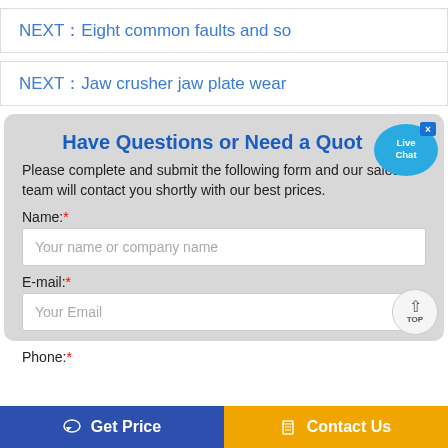NEXT：Eight common faults and so
NEXT：Jaw crusher jaw plate wear
Have Questions or Need a Quote?
Please complete and submit the following form and our sales team will contact you shortly with our best prices.
Name:*
Your name or company name
E-mail:*
Your Email
Phone:*
Get Price
Contact Us